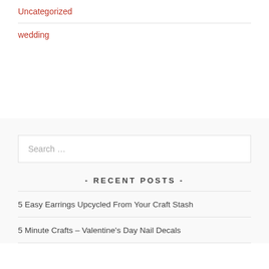Uncategorized
wedding
Search …
- RECENT POSTS -
5 Easy Earrings Upcycled From Your Craft Stash
5 Minute Crafts – Valentine's Day Nail Decals